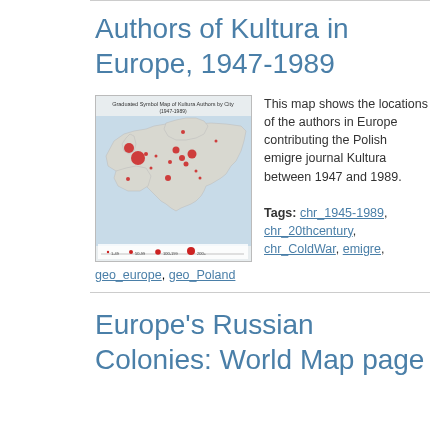Authors of Kultura in Europe, 1947-1989
[Figure (map): Graduated Symbol Map of Kultura Authors by City (1947-1989), showing locations across Europe with red circles of varying sizes indicating author concentration.]
This map shows the locations of the authors in Europe contributing the Polish emigre journal Kultura between 1947 and 1989.
Tags: chr_1945-1989, chr_20thcentury, chr_ColdWar, emigre, geo_europe, geo_Poland
Europe's Russian Colonies: World Map page